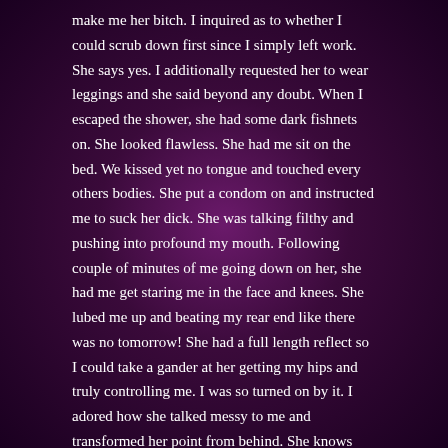make me her bitch. I inquired as to whether I could scrub down first since I simply left work. She says yes. I additionally requested her to wear leggings and she said beyond any doubt. When I escaped the shower, she had some dark fishnets on. She looked flawless. She had me sit on the bed. We kissed yet no tongue and touched every others bodies. She put a condom on and instructed me to suck her dick. She was talking filthy and pushing into profound my mouth. Following couple of minutes of me going down on her, she had me get staring me in the face and knees. She lubed me up and beating my rear end like there was no tomorrow! She had a full length reflect so I could take a gander at her getting my hips and truly controlling me. I was so turned on by it. I adored how she talked messy to me and transformed her point from behind. She knows how to beat.